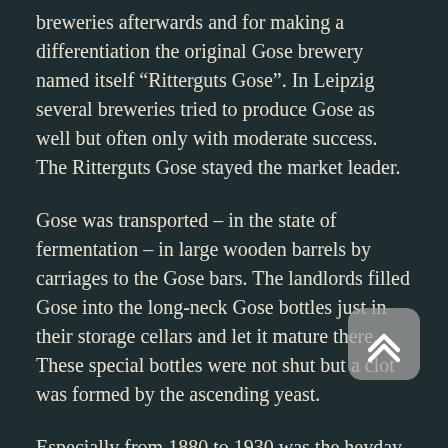breweries afterwards and for making a differentiation the original Gose brewery named itself “Ritterguts Gose”. In Leipzig several breweries tried to produce Gose as well but often only with moderate success. The Ritterguts Gose stayed the market leader.
Gose was transported – in the state of fermentation – in large wooden barrels by carriages to the Gose bars. The landlords filled Gose into the long-neck Gose bottles just in their storage cellars and let it mature there. These special bottles were not shut but a clot was formed by the ascending yeast.
Especially from 1880 to 1930 was the heyday of Gose: there were about 80 Gose bars only in Leipzig and Gose was the most consumed beer in town. It was only changed by the increased appearance of beer in Pilsner tradition. After the end of World War II in 1945 Döllnitz Manor was dispossessed and the brewery facility was